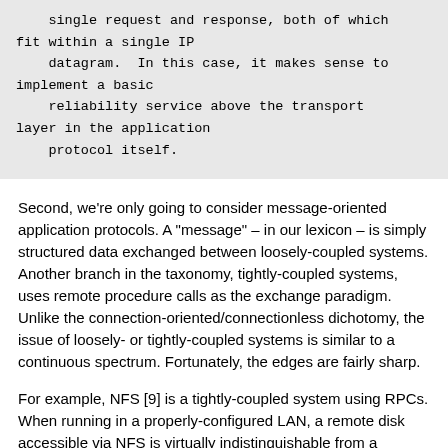single request and response, both of which
fit within a single IP
    datagram.  In this case, it makes sense to
implement a basic
    reliability service above the transport
layer in the application
    protocol itself.
Second, we're only going to consider message-oriented application protocols. A "message" – in our lexicon – is simply structured data exchanged between loosely-coupled systems. Another branch in the taxonomy, tightly-coupled systems, uses remote procedure calls as the exchange paradigm. Unlike the connection-oriented/connectionless dichotomy, the issue of loosely- or tightly-coupled systems is similar to a continuous spectrum. Fortunately, the edges are fairly sharp.
For example, NFS [9] is a tightly-coupled system using RPCs. When running in a properly-configured LAN, a remote disk accessible via NFS is virtually indistinguishable from a